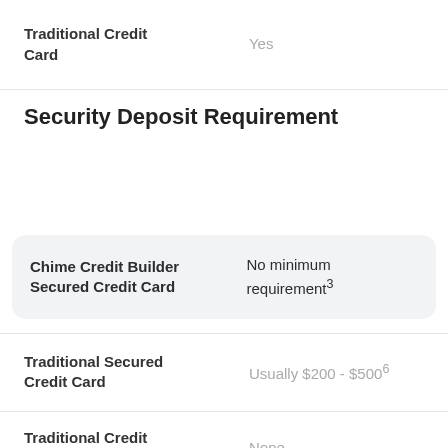|  |  |
| --- | --- |
| Traditional Credit Card | Yes |
Security Deposit Requirement
|  |  |
| --- | --- |
| Chime Credit Builder Secured Credit Card | No minimum requirement3 |
| Traditional Secured Credit Card | Usually $200 - $5006 |
| Traditional Credit Card | None |